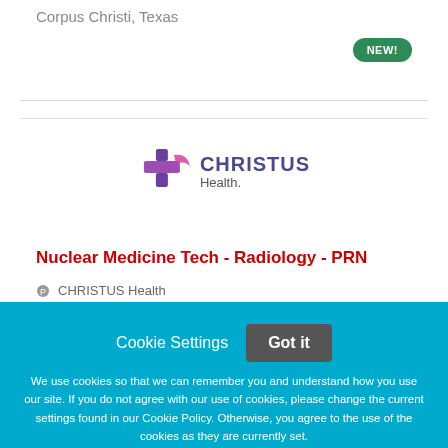Corpus Christi, Texas
NEW!
[Figure (logo): CHRISTUS Health logo with purple/pink cross and text 'CHRISTUS Health']
Nuclear Medicine Tech - Radiology - PRN
CHRISTUS Health
Cookie Settings  Got it
We use cookies so that we can remember you and understand how you use our site. If you do not agree with our use of cookies, please change the current settings found in our Cookie Policy. Otherwise, you agree to the use of the cookies as they are currently set.